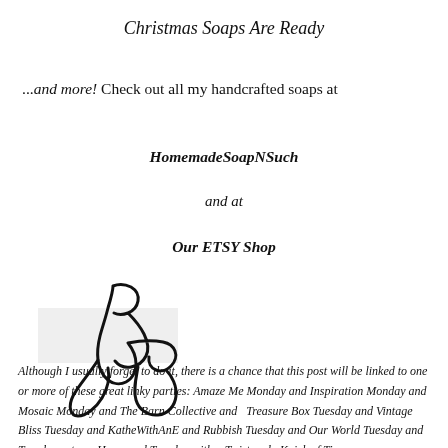Christmas Soaps Are Ready
...and more! Check out all my handcrafted soaps at
HomemadeSoapNSuch
and at
Our ETSY Shop
[Figure (illustration): Handwritten cursive signature reading 'Judy' with large looping letterforms]
Although I usually forget to do it, there is a chance that this post will be linked to one or more of these great linky parties:  Amaze Me Monday and Inspiration Monday and Mosaic Monday and The Barn Collective and   Treasure Box Tuesday and Vintage Bliss Tuesday and KatheWithAnE and Rubbish Tuesday and Our World Tuesday and Tuesdays at our Home and Tuesday with a Twist and  Knick of Time